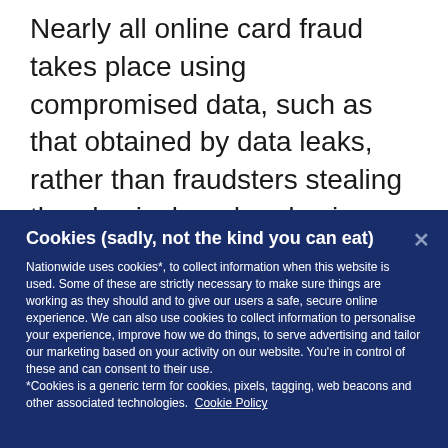Nearly all online card fraud takes place using compromised data, such as that obtained by data leaks, rather than fraudsters stealing the physical card and using this to shop online. However, despite this, people still worry more about losing their card and it being used online (59%) than worry about their details being compromised and
Cookies (sadly, not the kind you can eat)
Nationwide uses cookies*, to collect information when this website is used. Some of these are strictly necessary to make sure things are working as they should and to give our users a safe, secure online experience. We can also use cookies to collect information to personalise your experience, improve how we do things, to serve advertising and tailor our marketing based on your activity on our website. You're in control of these and can consent to their use. *Cookies is a generic term for cookies, pixels, tagging, web beacons and other associated technologies. Cookie Policy